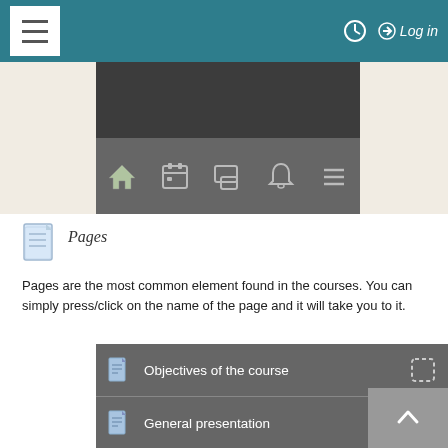[Figure (screenshot): Mobile app top navigation bar with hamburger menu on left, clock icon and Log in link on right, on teal background]
[Figure (screenshot): Dark banner/header image area of a mobile course app]
[Figure (screenshot): Secondary navigation bar with home, calendar, messages, bell, and menu icons on grey background]
[Figure (screenshot): Pages icon - blue document icon]
Pages
Pages are the most common element found in the courses. You can simply press/click on the name of the page and it will take you to it.
[Figure (screenshot): Course list items panel with 'Objectives of the course' and 'General presentation' rows on grey background with page icons]